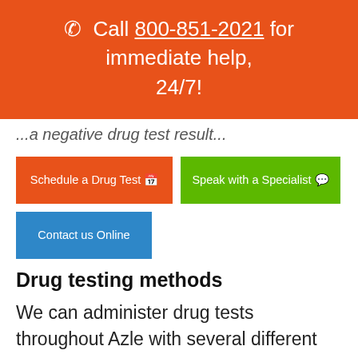📞 Call 800-851-2021 for immediate help, 24/7!
...a negative drug test result...
Schedule a Drug Test 📅
Speak with a Specialist 💬
Contact us Online
Drug testing methods
We can administer drug tests throughout Azle with several different methods, depending on your needs.